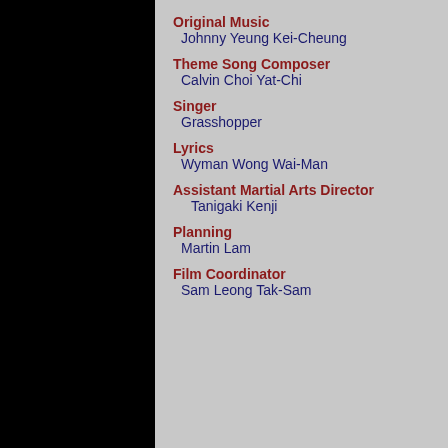Original Music
Johnny Yeung Kei-Cheung
Theme Song Composer
Calvin Choi Yat-Chi
Singer
Grasshopper
Lyrics
Wyman Wong Wai-Man
Assistant Martial Arts Director
Tanigaki Kenji
Planning
Martin Lam
Film Coordinator
Sam Leong Tak-Sam